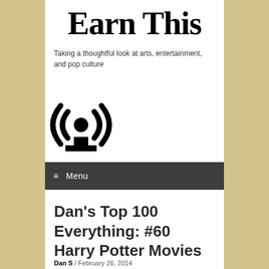Earn This
Taking a thoughtful look at arts, entertainment, and pop culture
[Figure (logo): Podcast/broadcast icon: circular radio waves emanating from a central point atop a stand/pedestal, rendered in black and white]
≡ Menu
Dan's Top 100 Everything: #60 Harry Potter Movies
Dan S  / February 26, 2014